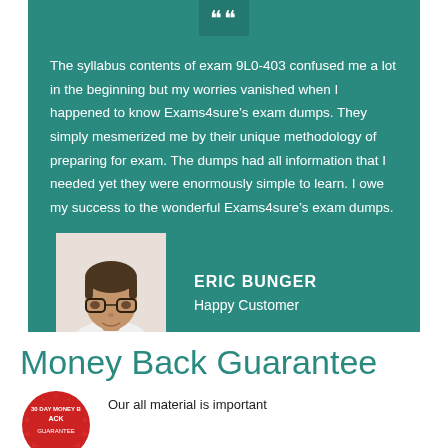The syllabus contents of exam 9L0-403 confused me a lot in the beginning but my worries vanished when I happened to know Exams4sure’s exam dumps. They simply mesmerized me by their unique methodology of preparing for exam. The dumps had all information that I needed yet they were enormously simple to learn. I owe my success to the wonderful Exams4sure’s exam dumps.
[Figure (photo): Headshot photo of Eric Bunger, a young man with glasses]
ERIC BUNGER
Happy Customer
Money Back Guarantee
Our all material is important